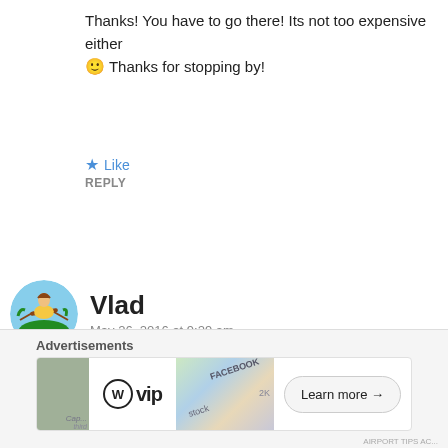Thanks! You have to go there! Its not too expensive either 🙂 Thanks for stopping by!
★ Like
REPLY
[Figure (illustration): Circular avatar image showing a cartoon/photo of a person relaxing in a hammock on a beach with palm trees and blue sky background]
Vlad
May 26, 2016 at 9:29 am
Stunning photos, I'm hoping to visit Croatia soon, it looks like a gorgeous country ❤
★ Like
REPLY
Advertisements
[Figure (screenshot): WordPress VIP advertisement banner with map background and Learn more button]